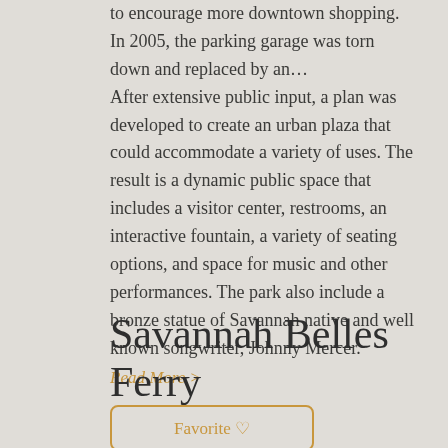to encourage more downtown shopping. In 2005, the parking garage was torn down and replaced by an… After extensive public input, a plan was developed to create an urban plaza that could accommodate a variety of uses. The result is a dynamic public space that includes a visitor center, restrooms, an interactive fountain, a variety of seating options, and space for music and other performances. The park also include a bronze statue of Savannah native and well known songwriter, Johnny Mercer.
Read More >
Savannah Belles Ferry
Favorite ♡